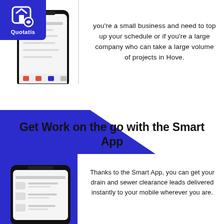[Figure (logo): Quotatis logo - white house/chat bubble icon on blue background with text Quotatis]
[Figure (screenshot): Mobile phone screenshot showing Quotatis app account/settings screen]
you're a small business and need to top up your schedule or if you're a large company who can take a large volume of projects in Hove.
Get Work on the go with the Smart App
[Figure (screenshot): Mobile phone screenshot showing Quotatis app with received quotes/leads list]
Thanks to the Smart App, you can get your drain and sewer clearance leads delivered instantly to your mobile wherever you are.